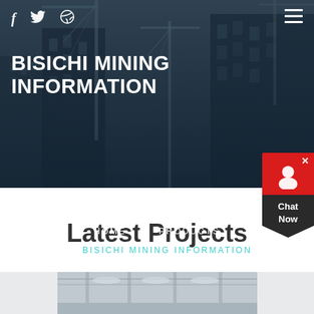f  Twitter  Dribbble  ≡
BISICHI MINING INFORMATION
HOME // PRODUCTS // BISICHI MINING INFORMATION
[Figure (screenshot): Chat Now widget with red top section, person icon, and dark arrow-shaped bottom]
Latest Projects
[Figure (photo): Industrial interior photograph showing machinery and overhead lighting]